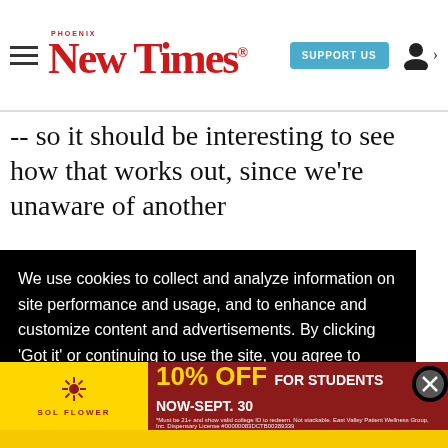Phoenix New Times — SUPPORT US
-- so it should be interesting to see how that works out, since we're unaware of another
We use cookies to collect and analyze information on site performance and usage, and to enhance and customize content and advertisements. By clicking 'Got it' or continuing to use the site, you agree to allow cookies to be placed. To find out more, visit our cookies policy and our privacy policy
[Figure (other): Sol Flower dispensary advertisement: 10% OFF FOR STUDENTS NOW-SEPT. 30. *Must be 21+ and show valid college ID to redeem. Not stackable. East Valley Patient Wellness Group, Inc. Dispensary License #00000083DCTB00289339]
Got it!
Salado Pkwy, Tempe, (480) 966-9338